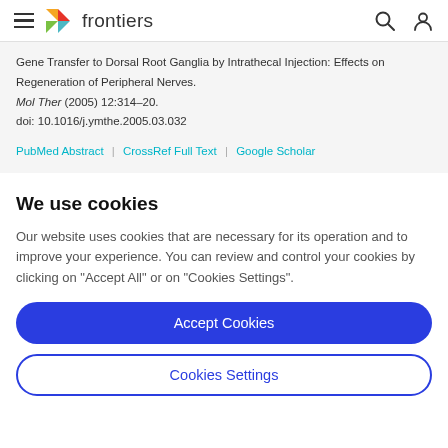frontiers
Gene Transfer to Dorsal Root Ganglia by Intrathecal Injection: Effects on Regeneration of Peripheral Nerves. Mol Ther (2005) 12:314–20. doi: 10.1016/j.ymthe.2005.03.032
PubMed Abstract | CrossRef Full Text | Google Scholar
We use cookies
Our website uses cookies that are necessary for its operation and to improve your experience. You can review and control your cookies by clicking on "Accept All" or on "Cookies Settings".
Accept Cookies
Cookies Settings